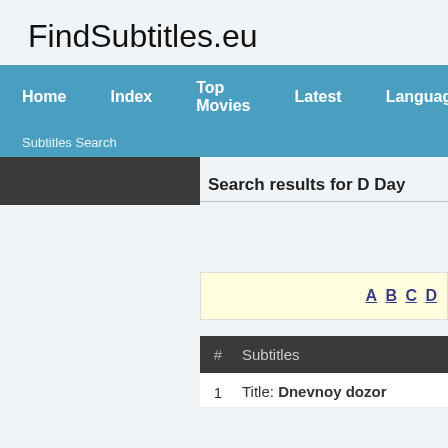FindSubtitles.eu
Home  Index  Top Movies  Latest  Languages
Subtitles Search
Search results for D Day
A B C D
| # | Subtitles |
| --- | --- |
| 1 | Title: Dnevnoy dozor |
1  Title: Dnevnoy dozor